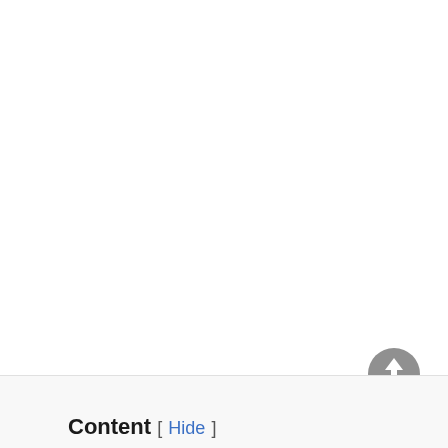[Figure (other): Scroll-to-top circular button with upward arrow, gray background, positioned in lower right area of page]
Content [ Hide ]